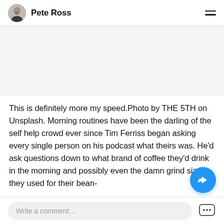Pete Ross
[Figure (photo): Large image area above article text, appears blank/white in this crop]
This is definitely more my speed.Photo by THE 5TH on Unsplash. Morning routines have been the darling of the self help crowd ever since Tim Ferriss began asking every single person on his podcast what theirs was. He'd ask questions down to what brand of coffee they'd drink in the morning and possibly even the damn grind size they used for their bean-